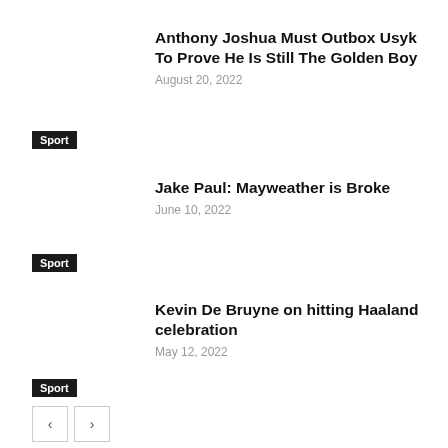Anthony Joshua Must Outbox Usyk To Prove He Is Still The Golden Boy
August 20, 2022
Sport
Jake Paul: Mayweather is Broke
June 10, 2022
Sport
Kevin De Bruyne on hitting Haaland celebration
May 12, 2022
Sport